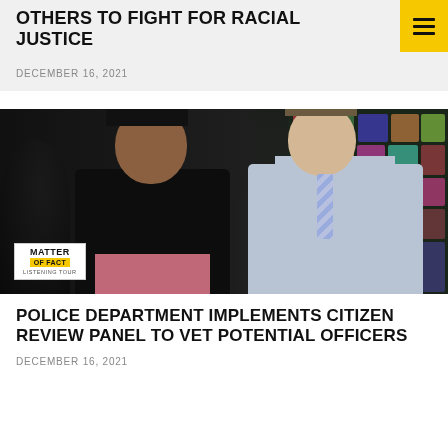... OTHERS TO FIGHT FOR RACIAL JUSTICE
DECEMBER 16, 2021
[Figure (photo): Two men seated side by side during an interview. The man on the left wears a black jacket and has dreadlocks. The man on the right wears a light blue dress shirt with a striped tie. A colorful patchwork artwork is visible in the background. A 'Matter of Fact' logo appears in the lower left corner of the image.]
POLICE DEPARTMENT IMPLEMENTS CITIZEN REVIEW PANEL TO VET POTENTIAL OFFICERS
DECEMBER 16, 2021